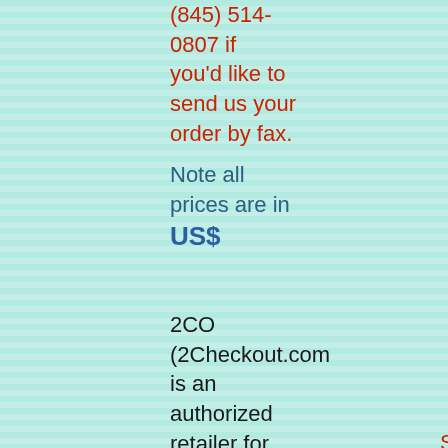(845) 514-0807 if you'd like to send us your order by fax.
Note all prices are in US$
2CO (2Checkout.com is an authorized retailer for goods/services provided by MiGem
Ordering Instructions
Search the